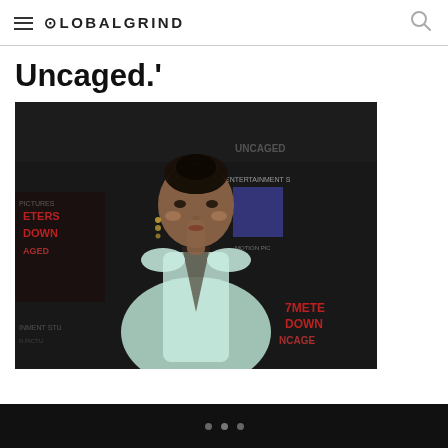GLOBALGRIND
Uncaged.'
[Figure (photo): A woman in a low-cut mint/light blue gown posing at a red carpet event for '47 Meters Down: Uncaged' with Entertainment Studios Motion Pictures backdrop]
• • •